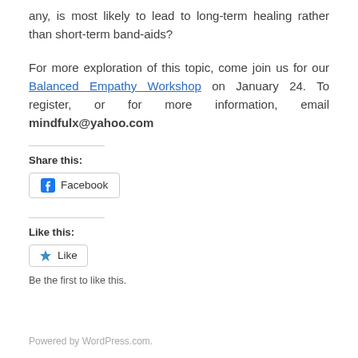any, is most likely to lead to long-term healing rather than short-term band-aids?
For more exploration of this topic, come join us for our Balanced Empathy Workshop on January 24. To register, or for more information, email mindfulx@yahoo.com
Share this:
[Figure (other): Facebook share button]
Like this:
[Figure (other): WordPress Like button]
Be the first to like this.
Powered by WordPress.com.